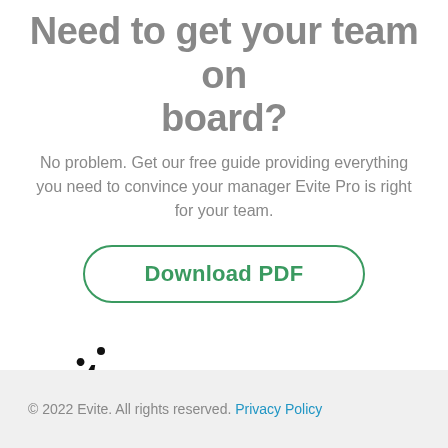Need to get your team on board?
No problem. Get our free guide providing everything you need to convince your manager Evite Pro is right for your team.
[Figure (other): Green-outlined rounded rectangle button with text 'Download PDF' in green bold font]
[Figure (logo): Evite logo in bold italic serif font with a dot above the 'i']
© 2022 Evite. All rights reserved. Privacy Policy